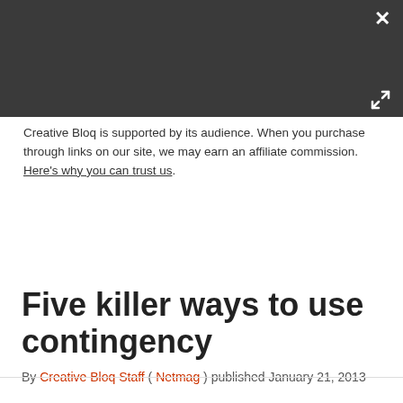[Figure (other): Dark gray header bar with close (×) button top-right and expand/fullscreen icon bottom-right]
Creative Bloq is supported by its audience. When you purchase through links on our site, we may earn an affiliate commission. Here's why you can trust us.
Five killer ways to use contingency
By Creative Bloq Staff ( Netmag ) published January 21, 2013